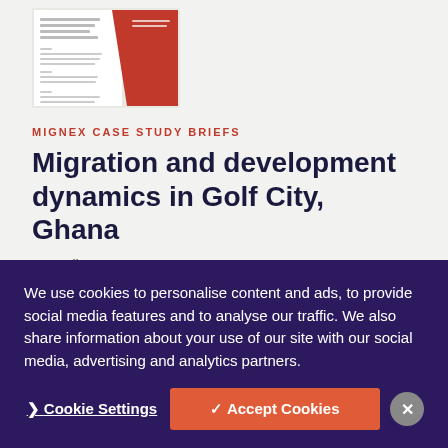[Figure (screenshot): Thumbnail of a MIGNEX case study brief document with red and white design]
MIGNEX CASE STUDY BRIEFS
Migration and development dynamics in Golf City, Ghana
29 April 2022
[Figure (photo): Thumbnail showing a colorful street scene with orange/red cover design overlay]
We use cookies to personalise content and ads, to provide social media features and to analyse our traffic. We also share information about your use of our site with our social media, advertising and analytics partners.
❯ Cookie Settings    ✓ Accept Cookies    ✕